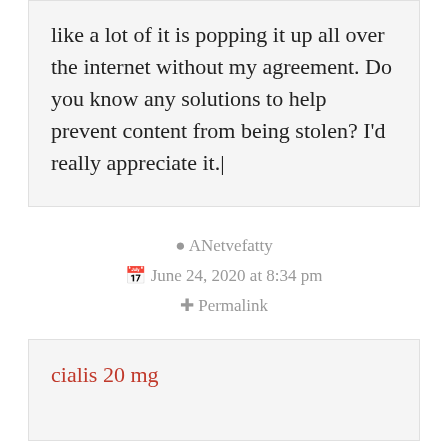like a lot of it is popping it up all over the internet without my agreement. Do you know any solutions to help prevent content from being stolen? I'd really appreciate it.
ANetvefatty
June 24, 2020 at 8:34 pm
Permalink
cialis 20 mg
MiaSiz